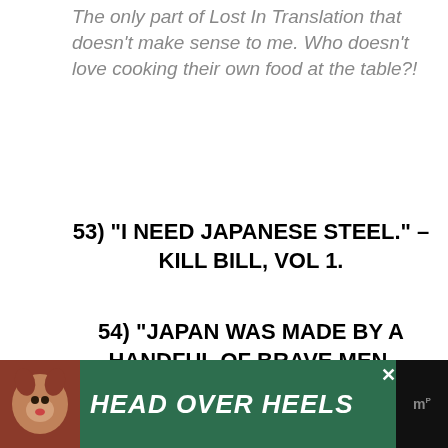The only part of Lost In Translation that doesn't make sense to me. Who doesn't love cooking their own food at the table?!
53) "I NEED JAPANESE STEEL." – KILL BILL, VOL 1.
54) "JAPAN WAS MADE BY A HANDFUL OF BRAVE MEN. WARRIORS, WILLING TO GIVE THEIR LIVES FOR WHAT SEEMS TO HAVE BECOME A FORGOTTEN WORD: HONOR." – THE LAST SAMURAI
[Figure (infographic): Advertisement banner at the bottom of the page with a dog image on the left, green background with text 'HEAD OVER HEELS' in white bold italic font, and a close button.]